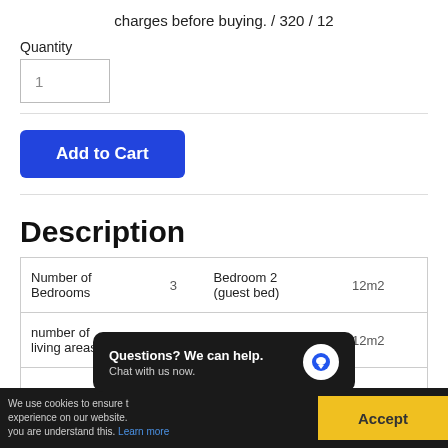charges before buying. / 320 / 12
Quantity
1
Add to Cart
Description
| Number of Bedrooms | 3 | Bedroom 2 (guest bed) | 12m2 |
| number of living areas | 1 | Bedroom 3 | 12m2 |
Questions? We can help. Chat with us now.
We use cookies to ensure the best experience on our website. you are understand this. Learn more
Accept